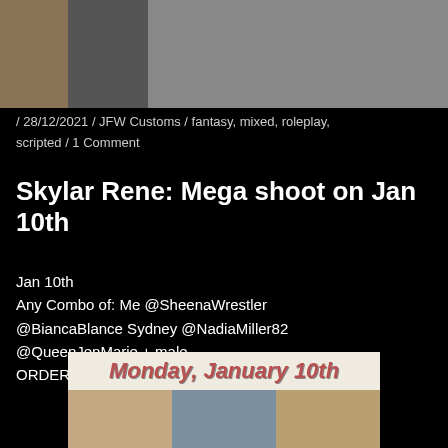[Figure (photo): Top banner partial image showing three sections: left brown/tan section, middle gray section, right gray section]
/ 28/12/2021 / JFW Customs / fantasy, mixed, roleplay, scripted / 1 Comment
Skylar Rene: Mega shoot on Jan 10th
Jan 10th
Any Combo of: Me @SheenaWrestler @BiancaBlance Sydney @NadiaMiller82 @QueenJenMarie + male
ORDER ASAP at > Skylarrene@ymail.com
[Figure (photo): Promotional banner reading 'Monday, January 10th' in bold italic reddish text on light background, below which are three photos of women fitness/wrestling performers]